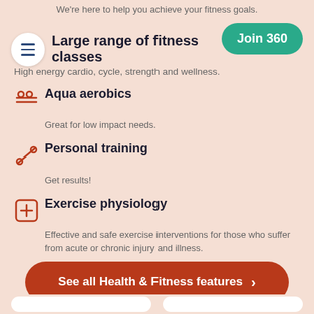We're here to help you achieve your fitness goals.
Large range of fitness classes
High energy cardio, cycle, strength and wellness.
Aqua aerobics
Great for low impact needs.
Personal training
Get results!
Exercise physiology
Effective and safe exercise interventions for those who suffer from acute or chronic injury and illness.
See all Health & Fitness features